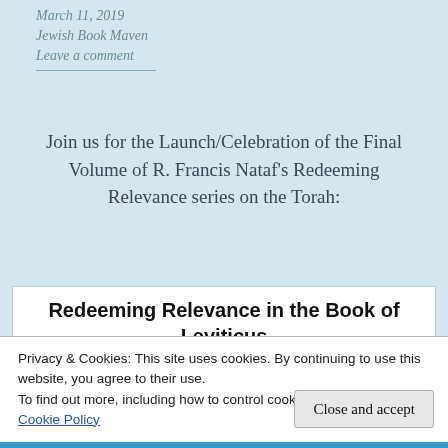March 11, 2019
Jewish Book Maven
Leave a comment
Join us for the Launch/Celebration of the Final Volume of R. Francis Nataf’s Redeeming Relevance series on the Torah:
Redeeming Relevance in the Book of Leviticus
Privacy & Cookies: This site uses cookies. By continuing to use this website, you agree to their use.
To find out more, including how to control cookies, see here:
Cookie Policy
Close and accept